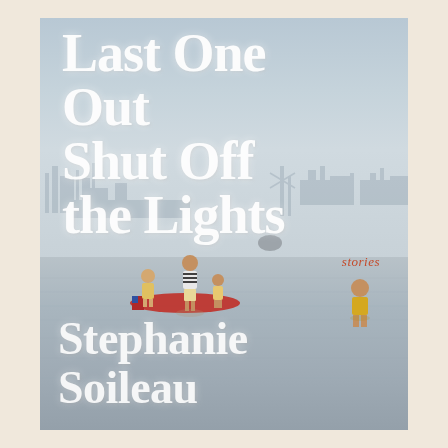[Figure (illustration): Book cover for 'Last One Out Shut Off the Lights' by Stephanie Soileau. Background shows a hazy industrial waterfront scene with children playing in flood water. Children with a red inflatable raft are visible mid-cover, and another child stands in water at right. Large white serif title text overlays the top portion, red italic 'stories' label appears at mid-right, and large white serif author name appears at the bottom.]
Last One Out Shut Off the Lights
stories
Stephanie Soileau